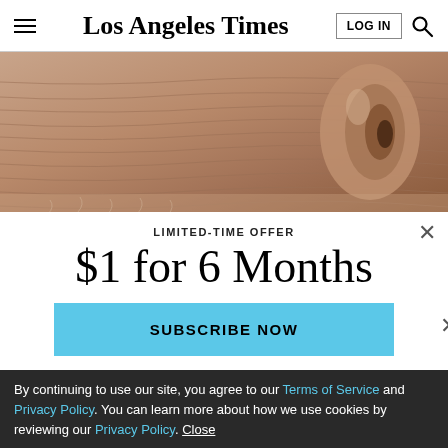Los Angeles Times
[Figure (photo): Close-up photograph of an elderly person's ear and wrinkled skin texture in warm tones]
LIMITED-TIME OFFER
$1 for 6 Months
SUBSCRIBE NOW
By continuing to use our site, you agree to our Terms of Service and Privacy Policy. You can learn more about how we use cookies by reviewing our Privacy Policy. Close